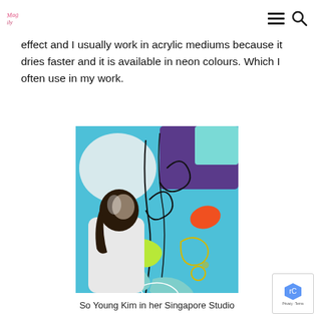[logo] [hamburger menu] [search icon]
effect and I usually work in acrylic mediums because it dries faster and it is available in neon colours. Which I often use in my work.
[Figure (photo): So Young Kim standing with her back to the camera, facing a large colorful abstract painting in blue, purple, black, orange, and neon yellow-green on a gallery wall in her Singapore studio.]
So Young Kim in her Singapore Studio